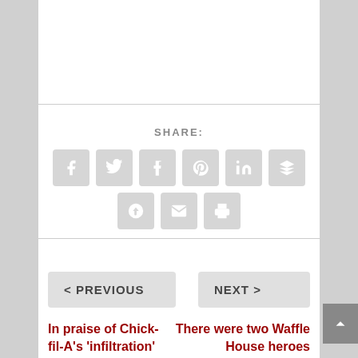SHARE:
[Figure (infographic): Row of social share icon buttons: Facebook, Twitter, Tumblr, Pinterest, LinkedIn, Buffer, StumbleUpon, Email, Print]
< PREVIOUS
NEXT >
In praise of Chick-fil-A's 'infiltration'
There were two Waffle House heroes recently but the media ignored the one who was armed